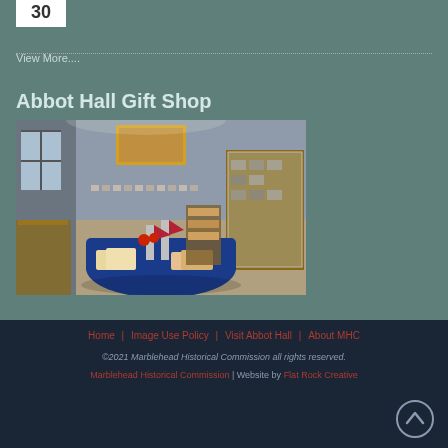30
View More....
Abbot Hall Gift Shop
[Figure (photo): Interior of Abbot Hall Gift Shop showing display cases, round table with books and American flags, wall-mounted artwork, and glass display cases with memorabilia.]
Home | Image Use Policy | Visit Abbot Hall | About MHC | ©2021 Marblehead Historical Commission all rights reserved. | Marblehead Historical Commission | Website by Flat Rock Creative